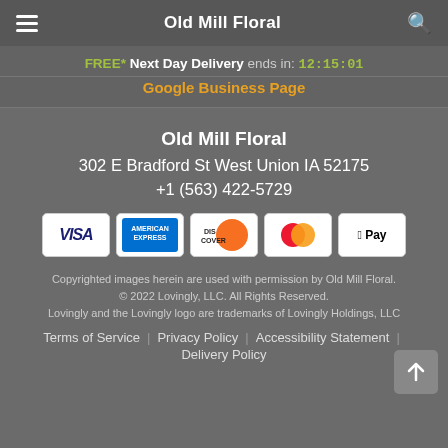Old Mill Floral
FREE* Next Day Delivery ends in: 12:15:01
Google Business Page
Old Mill Floral
302 E Bradford St West Union IA 52175
+1 (563) 422-5729
[Figure (illustration): Payment method icons: Visa, American Express, Discover, Mastercard, Apple Pay]
Copyrighted images herein are used with permission by Old Mill Floral. © 2022 Lovingly, LLC. All Rights Reserved. Lovingly and the Lovingly logo are trademarks of Lovingly Holdings, LLC
Terms of Service | Privacy Policy | Accessibility Statement | Delivery Policy